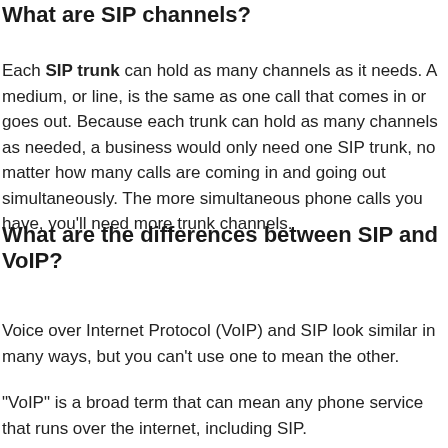What are SIP channels?
Each SIP trunk can hold as many channels as it needs. A medium, or line, is the same as one call that comes in or goes out. Because each trunk can hold as many channels as needed, a business would only need one SIP trunk, no matter how many calls are coming in and going out simultaneously. The more simultaneous phone calls you have, you'll need more trunk channels.
What are the differences between SIP and VoIP?
Voice over Internet Protocol (VoIP) and SIP look similar in many ways, but you can't use one to mean the other.
"VoIP" is a broad term that can mean any phone service that runs over the internet, including SIP.